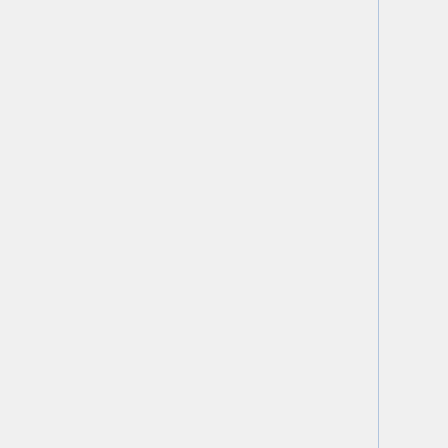| Java Version | Compatible Version |
| --- | --- |
| Windows and Linux) | Jaglion V2 Note2 |
| Java 8 (at least patch level 111) ≥ JRE 1.8.0_111 (required for Linux) | v. ≥ 4.4.3 Tigon V2 |
| Java 8 (required for Windows) | v. ≥ 4.4.3 |
| Java 7 (all OS except Windows) | 4.4.3 Note3 |